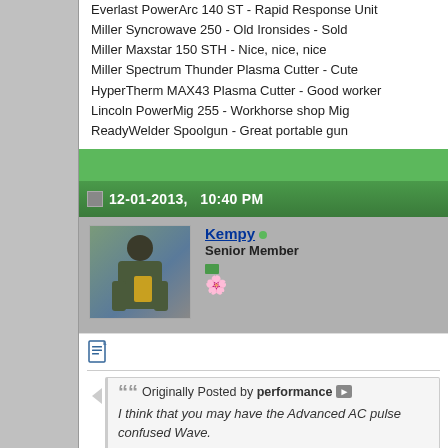Everlast PowerArc 140 ST - Rapid Response Unit
Miller Syncrowave 250 - Old Ironsides - Sold
Miller Maxstar 150 STH - Nice, nice, nice
Miller Spectrum Thunder Plasma Cutter - Cute
HyperTherm MAX43 Plasma Cutter - Good worker
Lincoln PowerMig 255 - Workhorse shop Mig
ReadyWelder Spoolgun - Great portable gun
12-01-2013,   10:40 PM
Kempy • Senior Member
Originally Posted by performance
I think that you may have the Advanced AC pulse confused Wave.
I had it set the wave form was on advanced Square and the Tig Du